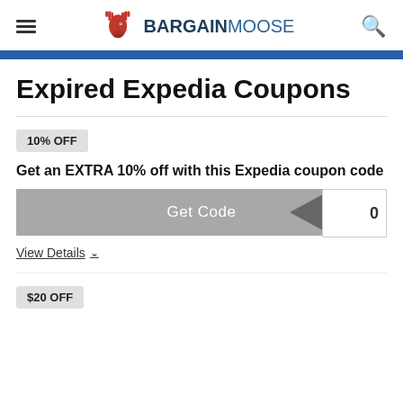BARGAINMOOSE
Expired Expedia Coupons
10% OFF
Get an EXTRA 10% off with this Expedia coupon code
Get Code
View Details
$20 OFF